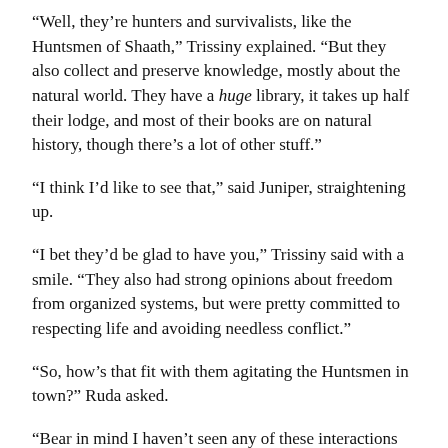“Well, they’re hunters and survivalists, like the Huntsmen of Shaath,” Trissiny explained. “But they also collect and preserve knowledge, mostly about the natural world. They have a huge library, it takes up half their lodge, and most of their books are on natural history, though there’s a lot of other stuff.”
“I think I’d like to see that,” said Juniper, straightening up.
“I bet they’d be glad to have you,” Trissiny said with a smile. “They also had strong opinions about freedom from organized systems, but were pretty committed to respecting life and avoiding needless conflict.”
“So, how’s that fit with them agitating the Huntsmen in town?” Ruda asked.
“Bear in mind I haven’t seen any of these interactions any…